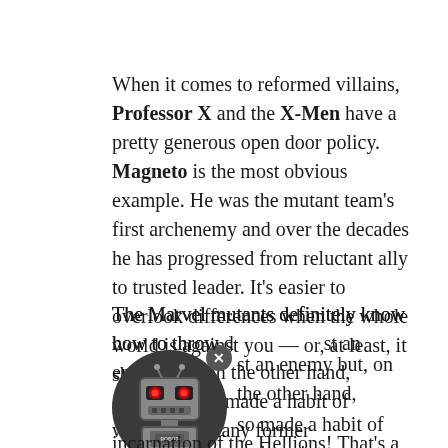When it comes to reformed villains, Professor X and the X-Men have a pretty generous open door policy. Magneto is the most obvious example. He was the mutant team's first archenemy and over the decades he has progressed from reluctant ally to trusted leader. It's easier to overlook differences when the whole world is against you — or, at least, it should be.
The Marvel mutants definitely know how to throw down against an enemy but, on the other hand, also made a habit of welcoming many former into the fold. Just look at the most recent incarnation of the Hellions! That's a group of legal liabilities if we ever saw one. Even Kraken, the
[Figure (illustration): A robot mascot icon with red glowing eyes, grey metallic body, inside a circular dark badge. A close/dismiss button (X) overlays the top-right of the icon.]